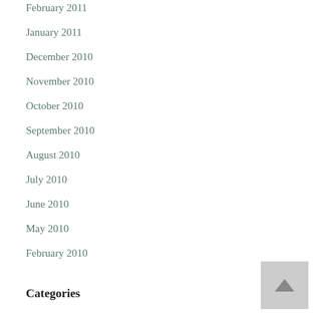February 2011
January 2011
December 2010
November 2010
October 2010
September 2010
August 2010
July 2010
June 2010
May 2010
February 2010
Categories
Analysis
Anarchist Movement